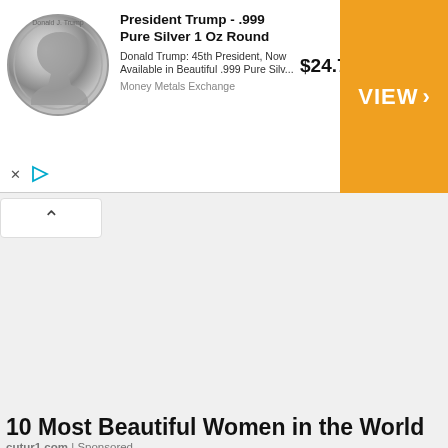[Figure (photo): Advertisement banner: silver coin with Trump profile on left, ad text in center, $24.73 price, orange VIEW > button on right. Title: President Trump - .999 Pure Silver 1 Oz Round. Description: Donald Trump: 45th President, Now Available in Beautiful .999 Pure Silv... Source: Money Metals Exchange]
[Figure (photo): Photo of a woman in a peach/pink dress at Critics Choice Awards backdrop. Partial upper body visible.]
10 Most Beautiful Women in the World
cutur1.com | Sponsored
[Figure (photo): Photo of a woman lying on a treatment bed/chair smiling, surrounded by grey medical/spa equipment tubes and arms. Clinical/spa setting.]